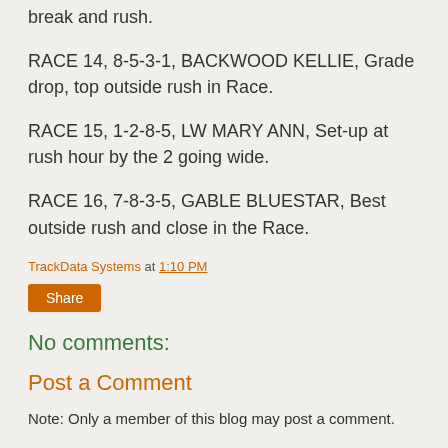break and rush.
RACE 14, 8-5-3-1, BACKWOOD KELLIE, Grade drop, top outside rush in Race.
RACE 15, 1-2-8-5, LW MARY ANN, Set-up at rush hour by the 2 going wide.
RACE 16, 7-8-3-5, GABLE BLUESTAR, Best outside rush and close in the Race.
TrackData Systems at 1:10 PM
Share
No comments:
Post a Comment
Note: Only a member of this blog may post a comment.